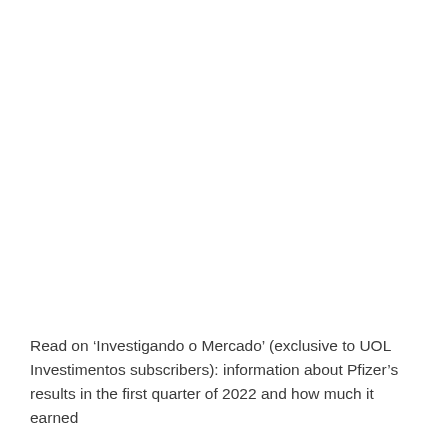Read on ‘Investigando o Mercado’ (exclusive to UOL Investimentos subscribers): information about Pfizer’s results in the first quarter of 2022 and how much it earned